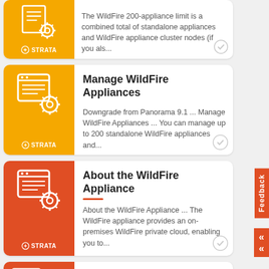[Figure (screenshot): Card with yellow icon (document/gear) and STRATA logo. Partial view at top.]
The WildFire 200-appliance limit is a combined total of standalone appliances and WildFire appliance cluster nodes (if you als...
[Figure (screenshot): Card with yellow icon (document/gear) and STRATA logo for Manage WildFire Appliances.]
Manage WildFire Appliances
Downgrade from Panorama 9.1 ... Manage WildFire Appliances ... You can manage up to 200 standalone WildFire appliances and...
[Figure (screenshot): Card with orange icon (document/gear) and STRATA logo for About the WildFire Appliance.]
About the WildFire Appliance
About the WildFire Appliance ... The WildFire appliance provides an on-premises WildFire private cloud, enabling you to...
[Figure (screenshot): Partial card with orange icon for show cluster data migration status.]
show cluster data migration status